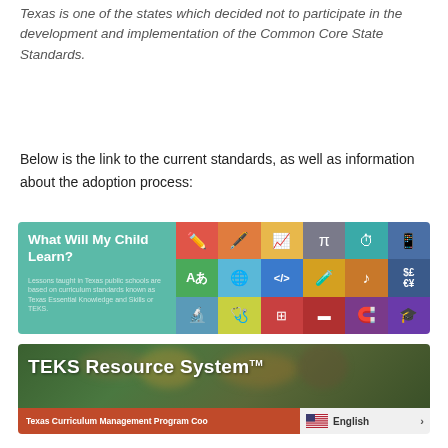Texas is one of the states which decided not to participate in the development and implementation of the Common Core State Standards.
Below is the link to the current standards, as well as information about the adoption process:
[Figure (infographic): Banner titled 'What Will My Child Learn?' with colorful icon grid showing education subjects (pencil, pen, graph, pi symbol, clock, tablet, language, globe, code, science, music, currency, microscope, medical, grid, calculator, magnet, graduation cap). Text: Lessons taught in Texas public schools are based on curriculum standards known as Texas Essential Knowledge and Skills or TEKS.]
[Figure (infographic): Banner for TEKS Resource System with dark green background and blurred classroom photo. Bottom bar in red reads 'Texas Curriculum Management Program Coo...' and a language switcher shows US flag and 'English >' on the right.]